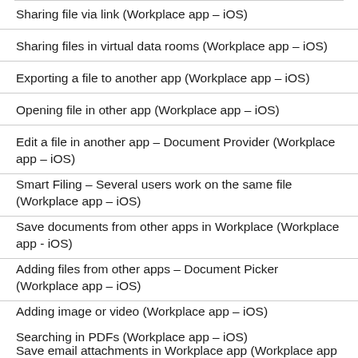Sharing file via link (Workplace app – iOS)
Sharing files in virtual data rooms (Workplace app – iOS)
Exporting a file to another app (Workplace app – iOS)
Opening file in other app (Workplace app – iOS)
Edit a file in another app – Document Provider (Workplace app – iOS)
Smart Filing – Several users work on the same file (Workplace app – iOS)
Save documents from other apps in Workplace (Workplace app - iOS)
Adding files from other apps – Document Picker (Workplace app – iOS)
Adding image or video (Workplace app – iOS)
Searching in PDFs (Workplace app – iOS)
Save email attachments in Workplace app (Workplace app –